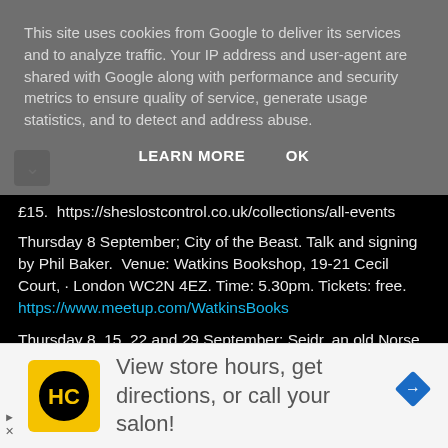This site uses cookies from Google to deliver its services and to analyze traffic. Your IP address and user-agent are shared with Google along with performance and security metrics to ensure quality of service, generate usage statistics, and to detect and address abuse.
LEARN MORE    OK
£15.  https://sheslostcontrol.co.uk/collections/all-events
Thursday 8 September; City of the Beast. Talk and signing by Phil Baker.  Venue: Watkins Bookshop, 19-21 Cecil Court, · London WC2N 4EZ. Time: 5.30pm. Tickets: free. https://www.meetup.com/WatkinsBooks
Thursday 8, 15, 22 and 29 September; Seidr, an old Norse Shamanic Practice. Four-week course on Seidr, an old shamanism, with Katie Gerrard and Andra Henriques
[Figure (screenshot): Advertisement banner with HC logo (yellow square with HC initials in black circle), text 'View store hours, get directions, or call your salon!', and a blue diamond-shaped navigation icon on the right.]